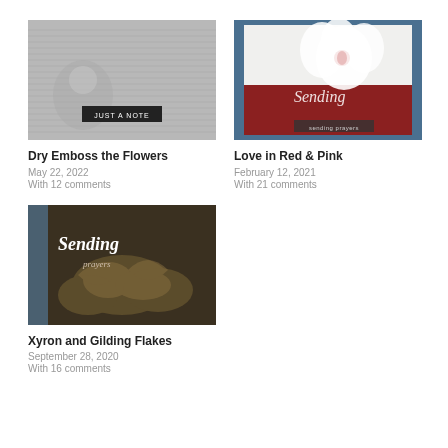[Figure (photo): Grayscale card with floral dry emboss texture and 'JUST A NOTE' label]
Dry Emboss the Flowers
May 22, 2022
With 12 comments
[Figure (photo): Card with white flower on red and teal background with 'Sending' script]
Love in Red & Pink
February 12, 2021
With 21 comments
[Figure (photo): Dark card with gilded floral background and 'Sending' script die cut]
Xyron and Gilding Flakes
September 28, 2020
With 16 comments